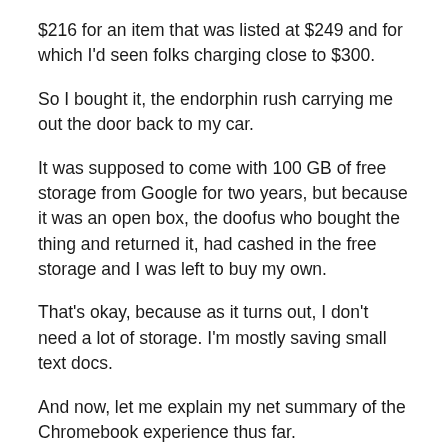$216 for an item that was listed at $249 and for which I'd seen folks charging close to $300.
So I bought it, the endorphin rush carrying me out the door back to my car.
It was supposed to come with 100 GB of free storage from Google for two years, but because it was an open box, the doofus who bought the thing and returned it, had cashed in the free storage and I was left to buy my own.
That's okay, because as it turns out, I don't need a lot of storage. I'm mostly saving small text docs.
And now, let me explain my net summary of the Chromebook experience thus far.
First, I'm a writer, first and foremost. So I like writing on something like to write…